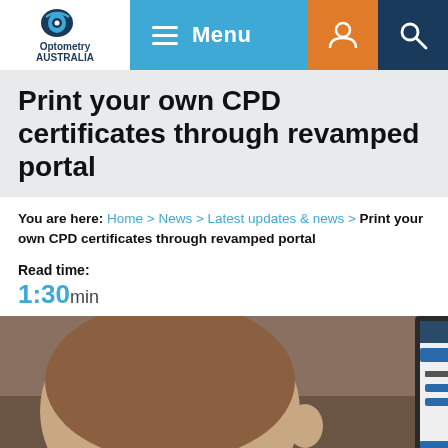[Figure (screenshot): Optometry Australia website navigation bar with logo, hamburger menu, user icon, and search icon]
Print your own CPD certificates through revamped portal
You are here: Home > News > Latest updates & news > Print your own CPD certificates through revamped portal
Read time: 1:30 min
[Figure (photo): Person viewed from behind looking at a computer monitor showing a CPD portal dashboard with donut chart and table]